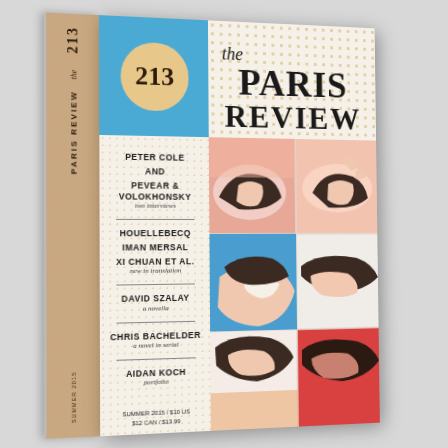[Figure (illustration): 3D angled view of The Paris Review issue 213 magazine/journal cover. The cover shows a blue and cream top section with issue number 213 in an orange circle, the title 'the PARIS REVIEW' in bold serif type, a left column listing contributors (Peter Cole, Pevear & Volokhonsky, Houellebecq, Iman Mersal, Xi Chuan et al., David Szalay, Chris Bachelder, Aidan Koch) with genre labels, and an illustration of a reclining woman in a 3x3 grid of colored panels. The spine reads '213 the PARIS REVIEW SUMMER 2015'. Price: Summer 2015 / $10 US / $12 CAN / $13.99.]